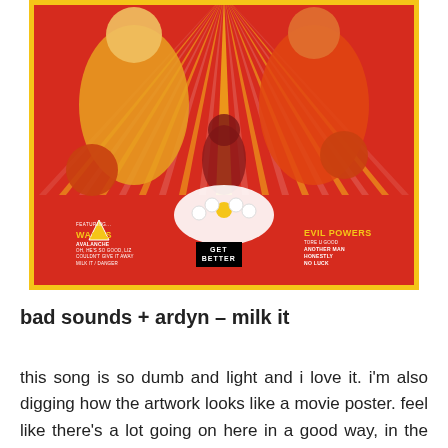[Figure (illustration): Album artwork for 'Get Better' by Bad Sounds, styled like a retro movie poster. Red background with sunburst rays in yellow and white. Two people in colorful outfits (yellow and red/orange), illustrated lions and animals, daisy flowers, a child figure. Bottom text lists featured tracks: WAGES, AVALANCHE on left; EVIL POWERS, TORE U GOOD, ANOTHER MAN, HONESTLY, NO LUCK on right. Center shows 'GET BETTER' logo. Yellow border around the entire artwork.]
bad sounds + ardyn – milk it
this song is so dumb and light and i love it. i'm also digging how the artwork looks like a movie poster. feel like there's a lot going on here in a good way, in the kinda way that